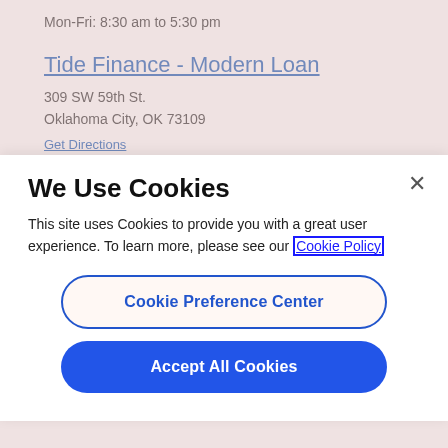Mon-Fri: 8:30 am to 5:30 pm
Tide Finance - Modern Loan
309 SW 59th St.
Oklahoma City, OK 73109
Get Directions
(405) 632-4030
Hours:
Mon-Fri: 8:30 am to 5:30 pm
We Use Cookies
This site uses Cookies to provide you with a great user experience. To learn more, please see our Cookie Policy
Cookie Preference Center
Accept All Cookies